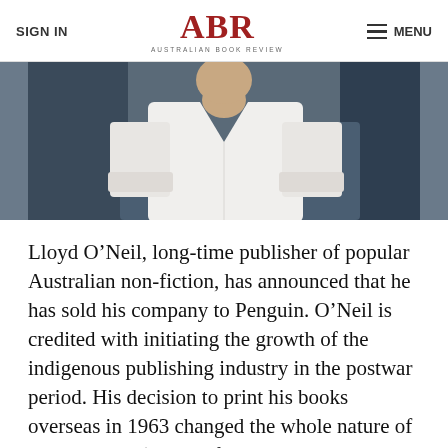SIGN IN | ABR AUSTRALIAN BOOK REVIEW | MENU
[Figure (photo): Cropped photo of a person wearing a white long-sleeve shirt, seated, upper body visible. Background is dark blue/grey.]
Lloyd O'Neil, long-time publisher of popular Australian non-fiction, has announced that he has sold his company to Penguin. O'Neil is credited with initiating the growth of the indigenous publishing industry in the postwar period. His decision to print his books overseas in 1963 changed the whole nature of the business: ‘For the first time we could produce Australian books at a standard and price that was comparable with